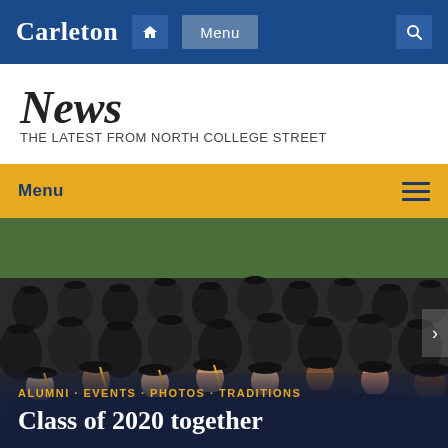Carleton — Menu — (home icon) — (search icon)
News
THE LATEST FROM NORTH COLLEGE STREET
Menu
[Figure (photo): Graduation ceremony photo showing rows of students in black caps and gowns applauding and smiling outdoors. Overlaid with text: 'ALUMNI · EVENTS · PHOTOS · TRADITIONS' and headline 'Class of 2020 together']